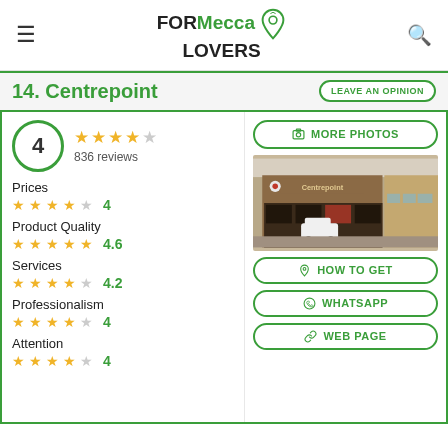FORMecca LOVERS
14. Centrepoint
LEAVE AN OPINION
4 — 836 reviews
MORE PHOTOS
Prices
4
[Figure (photo): Exterior photo of Centrepoint store building]
Product Quality
4.6
Services
4.2
HOW TO GET
Professionalism
4
WHATSAPP
Attention
4
WEB PAGE